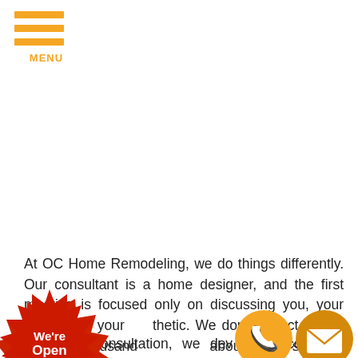[Figure (logo): Orange hamburger menu icon with three horizontal bars and the word MENU below in orange]
At OC Home Remodeling, we do things differently. Our consultant is a home designer, and the first meeting is focused only on discussing you, your home, and your [aes]thetic. We don't expect you to make a thousand [decisions] about items such as grout color.
[Aft]er our consultation, we dev[elop] a co[mpl]ete [des]ign [b]ased on the information you ha[ve prov]id[ed] [a]nd
[Figure (illustration): Red starburst badge with text 'We're Open Phone/Video Consultations Available']
[Figure (illustration): Orange circle with phone handset icon]
[Figure (illustration): Dark orange/amber circle with envelope/mail icon]